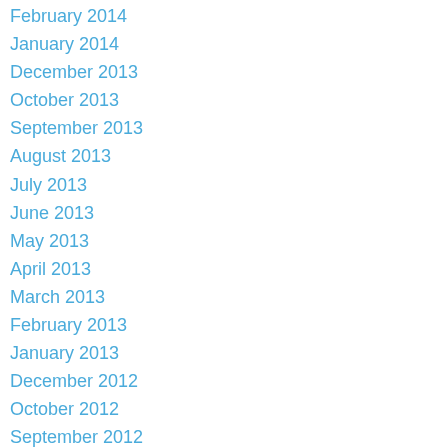February 2014
January 2014
December 2013
October 2013
September 2013
August 2013
July 2013
June 2013
May 2013
April 2013
March 2013
February 2013
January 2013
December 2012
October 2012
September 2012
August 2012
July 2012
June 2012
May 2012
April 2012